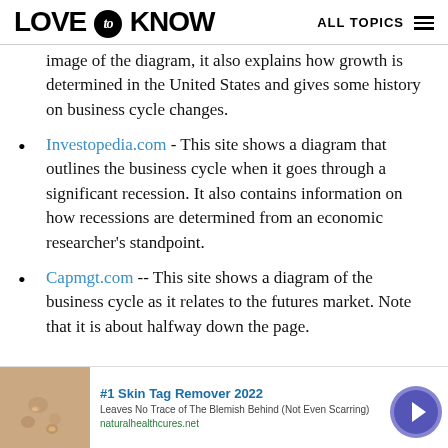LOVE to KNOW   ALL TOPICS
image of the diagram, it also explains how growth is determined in the United States and gives some history on business cycle changes.
Investopedia.com - This site shows a diagram that outlines the business cycle when it goes through a significant recession. It also contains information on how recessions are determined from an economic researcher’s standpoint.
Capmgt.com -- This site shows a diagram of the business cycle as it relates to the futures market. Note that it is about halfway down the page.
[Figure (other): Advertisement banner: #1 Skin Tag Remover 2022. Leaves No Trace of The Blemish Behind (Not Even Scarring). naturalhealthcures.net. Shows a skin close-up image on the left and a circular arrow button on the right.]